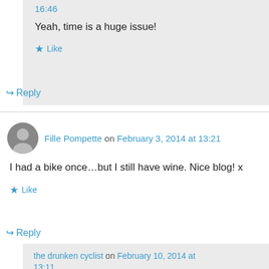16:46
Yeah, time is a huge issue!
★ Like
↳ Reply
Fille Pompette on February 3, 2014 at 13:21
I had a bike once…but I still have wine. Nice blog! x
★ Like
↳ Reply
the drunken cyclist on February 10, 2014 at 13:11